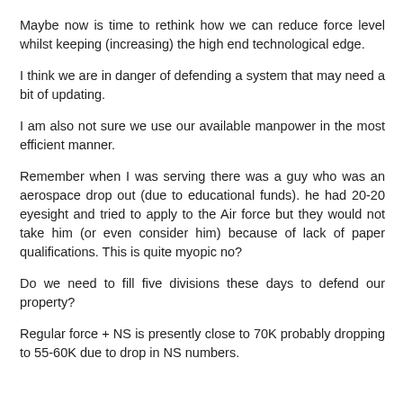Maybe now is time to rethink how we can reduce force level whilst keeping (increasing) the high end technological edge.
I think we are in danger of defending a system that may need a bit of updating.
I am also not sure we use our available manpower in the most efficient manner.
Remember when I was serving there was a guy who was an aerospace drop out (due to educational funds). he had 20-20 eyesight and tried to apply to the Air force but they would not take him (or even consider him) because of lack of paper qualifications. This is quite myopic no?
Do we need to fill five divisions these days to defend our property?
Regular force + NS is presently close to 70K probably dropping to 55-60K due to drop in NS numbers.